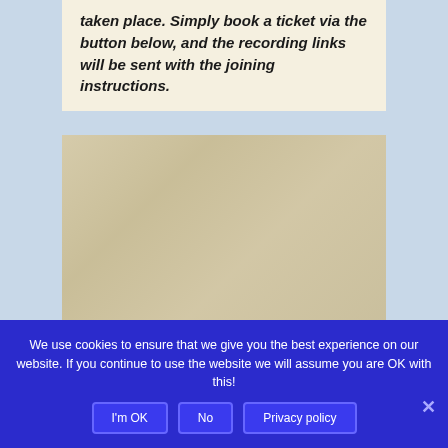taken place. Simply book a ticket via the button below, and the recording links will be sent with the joining instructions.
[Figure (illustration): Blurred parchment or aged paper texture background, beige/tan colored.]
We use cookies to ensure that we give you the best experience on our website. If you continue to use the website we will assume you are OK with this!